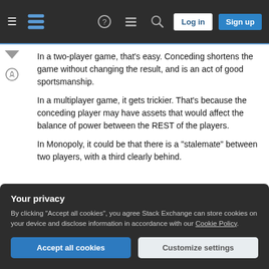[Figure (screenshot): Stack Exchange website navigation bar with hamburger menu, logo, help icon, chat icon, search icon, Log in button, and Sign up button on dark background]
In a two-player game, that's easy. Conceding shortens the game without changing the result, and is an act of good sportsmanship.
In a multiplayer game, it gets trickier. That's because the conceding player may have assets that would affect the balance of power between the REST of the players.
In Monopoly, it could be that there is a "stalemate" between two players, with a third clearly behind.
Your privacy
By clicking "Accept all cookies", you agree Stack Exchange can store cookies on your device and disclose information in accordance with our Cookie Policy.
properties in an equitable way before resigning.